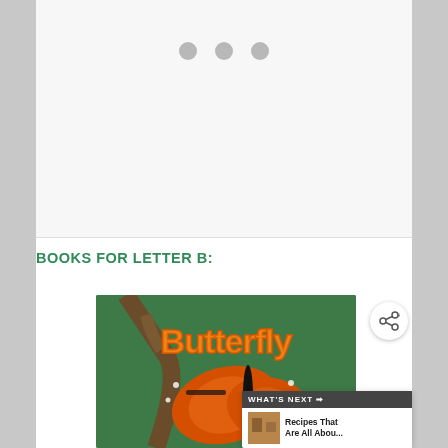[Figure (other): Top white panel with three gray loading/indicator dots]
BOOKS FOR LETTER B:
[Figure (photo): Book cover showing a monarch butterfly with orange, black and white wings on a green background with the title 'Butterfly' written in orange bubble letters. A tree branch is visible in the upper left.]